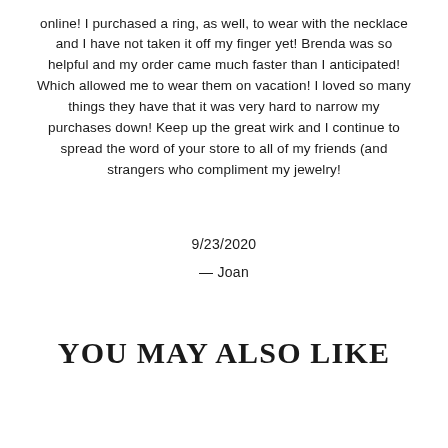online! I purchased a ring, as well, to wear with the necklace and I have not taken it off my finger yet! Brenda was so helpful and my order came much faster than I anticipated! Which allowed me to wear them on vacation! I loved so many things they have that it was very hard to narrow my purchases down! Keep up the great wirk and I continue to spread the word of your store to all of my friends (and strangers who compliment my jewelry!
9/23/2020
— Joan
YOU MAY ALSO LIKE